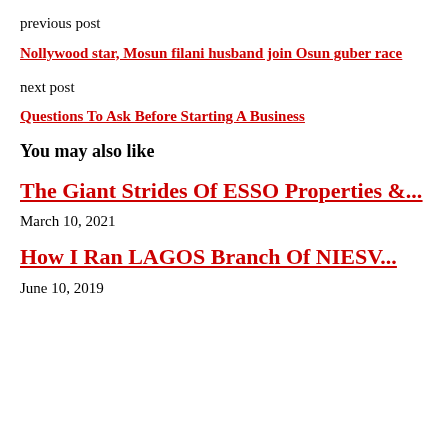previous post
Nollywood star, Mosun filani husband join Osun guber race
next post
Questions To Ask Before Starting A Business
You may also like
The Giant Strides Of ESSO Properties &...
March 10, 2021
How I Ran LAGOS Branch Of NIESV...
June 10, 2019